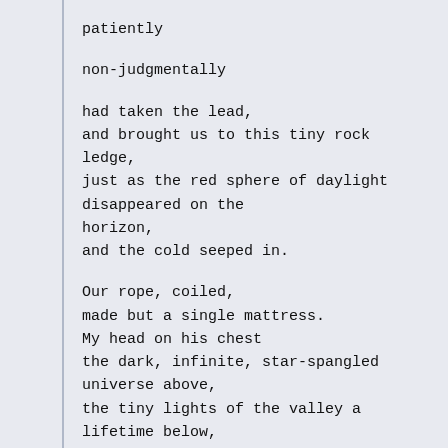patiently
non-judgmentally
had taken the lead,
and brought us to this tiny rock ledge,
just as the red sphere of daylight disappeared on the horizon,
and the cold seeped in.
Our rope, coiled,
made but a single mattress.
My head on his chest
the dark, infinite, star-spangled universe above,
the tiny lights of the valley a lifetime below,
but us in a cocoon of rock and rope and cold.
And the thump-thumping from his chest.
And time slowed beyond comprehension,
10 minutes, hours
a single night, an eternity.
And the cold.